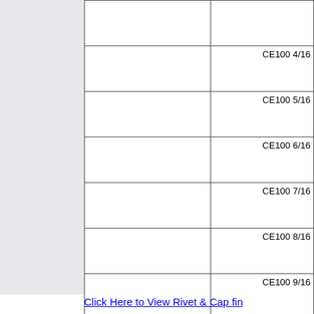|  |  |
| --- | --- |
|  |  |
|  | CE100 4/16 |
|  | CE100 5/16 |
|  | CE100 6/16 |
|  | CE100 7/16 |
|  | CE100 8/16 |
|  | CE100 9/16 |
Click Here to View Rivet & Cap fin